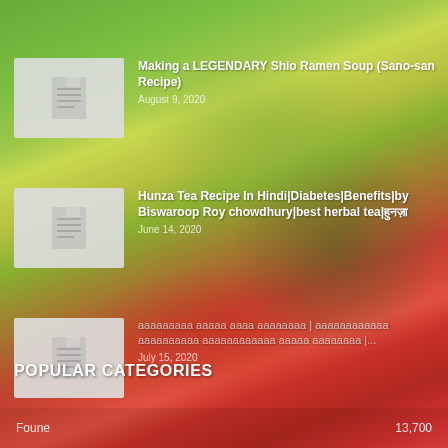[Figure (photo): Blurred background of vegetables and fruits including green broccoli, yellow pepper, red tomatoes on a colorful green and red background]
Making a LEGENDARY Shio Ramen Soup (Sano-san Recipe)
August 9, 2020
Hunza Tea Recipe In Hindi|Diabetes|Benefits|by Biswaroop Roy chowdhury|best herbal tea|हुनज़ा
June 14, 2020
ааааааааа ааааа аааа аааааааа | аааааааааааа аааааааааа аааааааааааа ааааа аааааааа |...
July 15, 2020
POPULAR CATEGORIES
Foune
13,700